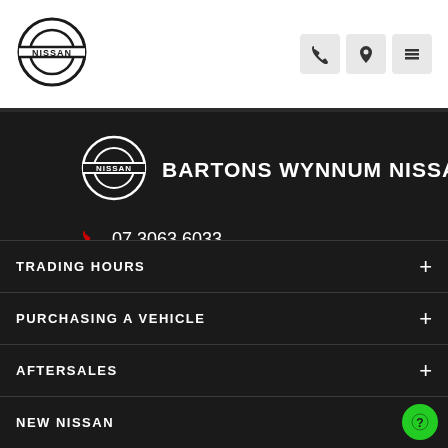[Figure (logo): Nissan logo in header (white background)]
[Figure (logo): Phone, location pin, and hamburger menu icons in header]
[Figure (logo): Nissan logo (dark background version) with dealer name]
BARTONS WYNNUM NISSAN
07 3063 6033
200 Tingal Rd, Wynnum QLD 4178
TRADING HOURS
PURCHASING A VEHICLE
AFTERSALES
NEW NISSAN